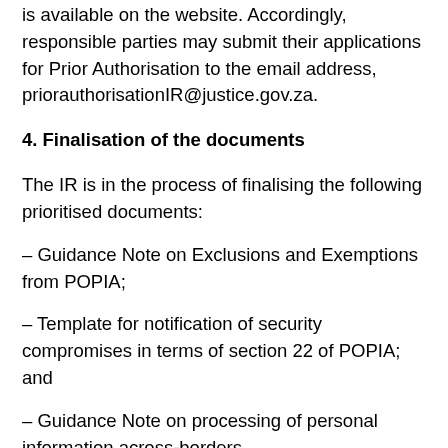is available on the website. Accordingly, responsible parties may submit their applications for Prior Authorisation to the email address, priorauthorisationIR@justice.gov.za.
4. Finalisation of the documents
The IR is in the process of finalising the following prioritised documents:
– Guidance Note on Exclusions and Exemptions from POPIA;
– Template for notification of security compromises in terms of section 22 of POPIA; and
– Guidance Note on processing of personal information across-borders.
“Failure to comply with certain provisions of POPIA may result in the IR imposing an administrative penalty of up to